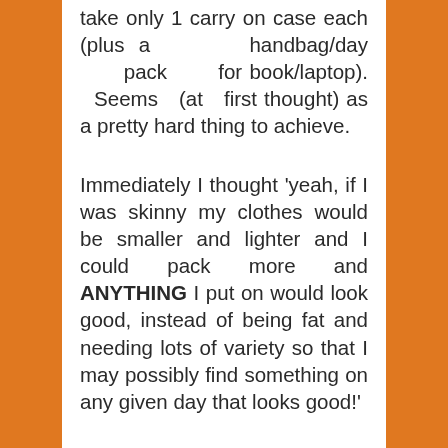take only 1 carry on case each (plus a handbag/day pack for book/laptop). Seems (at first thought) as a pretty hard thing to achieve.
Immediately I thought 'yeah, if I was skinny my clothes would be smaller and lighter and I could pack more and ANYTHING I put on would look good, instead of being fat and needing lots of variety so that I may possibly find something on any given day that looks good!'